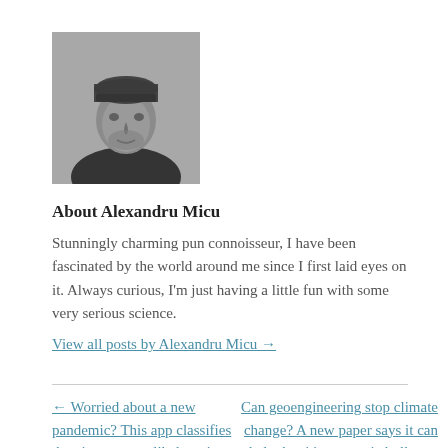[Figure (photo): Black and white portrait photo of Alexandru Micu wearing a beanie hat]
About Alexandru Micu
Stunningly charming pun connoisseur, I have been fascinated by the world around me since I first laid eyes on it. Always curious, I'm just having a little fun with some very serious science.
View all posts by Alexandru Micu →
← Worried about a new pandemic? This app classifies the viruses most likely to jump to other species
Can geoengineering stop climate change? A new paper says it can help, but it's no magic bullet →